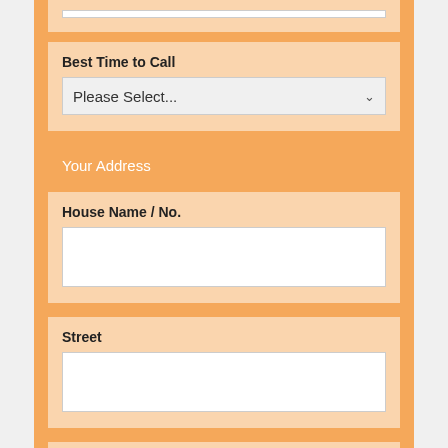Best Time to Call
[Figure (screenshot): Dropdown selector showing 'Please Select...']
Your Address
House Name / No.
Street
Town
County